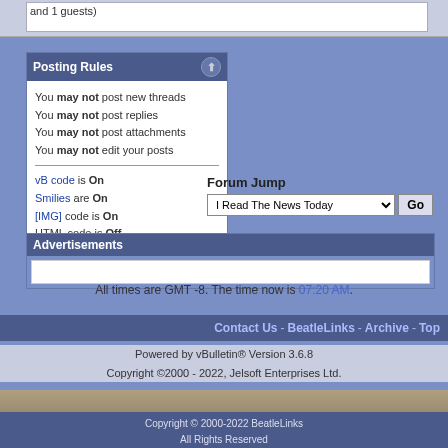and 1 guests)
Posting Rules
You may not post new threads
You may not post replies
You may not post attachments
You may not edit your posts

vB code is On
Smilies are On
[IMG] code is On
HTML code is Off
Forum Jump
I Read The News Today  Go
Advertisements
All times are GMT -8. The time now is 07:20 AM.
Contact Us - BeatleLinks - Archive - Top
Powered by vBulletin® Version 3.6.8
Copyright ©2000 - 2022, Jelsoft Enterprises Ltd.
Copyright © 2000-2022 BeatleLinks
All Rights Reserved